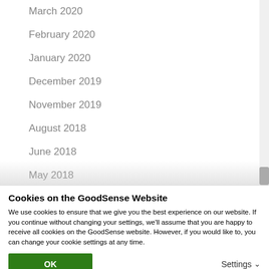March 2020
February 2020
January 2020
December 2019
November 2019
August 2018
June 2018
May 2018
April 2018
March 2018
February 2018
Cookies on the GoodSense Website
We use cookies to ensure that we give you the best experience on our website. If you continue without changing your settings, we'll assume that you are happy to receive all cookies on the GoodSense website. However, if you would like to, you can change your cookie settings at any time.